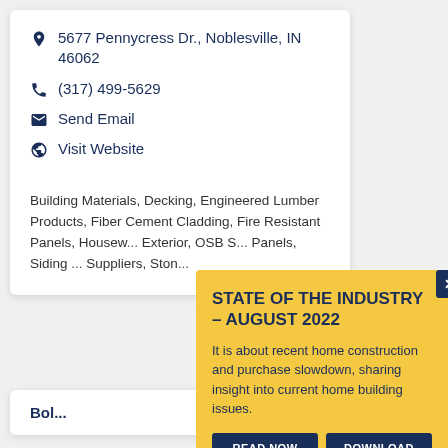5677 Pennycress Dr., Noblesville, IN 46062
(317) 499-5629
Send Email
Visit Website
Building Materials, Decking, Engineered Lumber Products, Fiber Cement Cladding, Fire Resistant Panels, Housew..., Exterior, OSB S..., Panels, Siding ..., Suppliers, Ston...
Bol...
STATE OF THE INDUSTRY – AUGUST 2022
It is about recent home construction and purchase slowdown, sharing insight into current home building issues.
READ NOW
DOWNLOAD